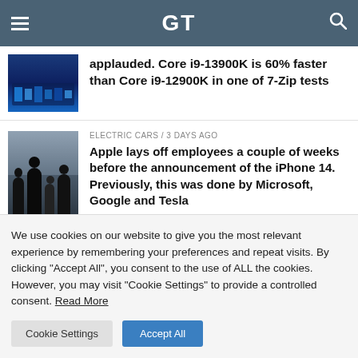GT
applauded. Core i9-13900K is 60% faster than Core i9-12900K in one of 7-Zip tests
ELECTRIC CARS / 3 days ago
Apple lays off employees a couple of weeks before the announcement of the iPhone 14. Previously, this was done by Microsoft, Google and Tesla
We use cookies on our website to give you the most relevant experience by remembering your preferences and repeat visits. By clicking "Accept All", you consent to the use of ALL the cookies. However, you may visit "Cookie Settings" to provide a controlled consent. Read More